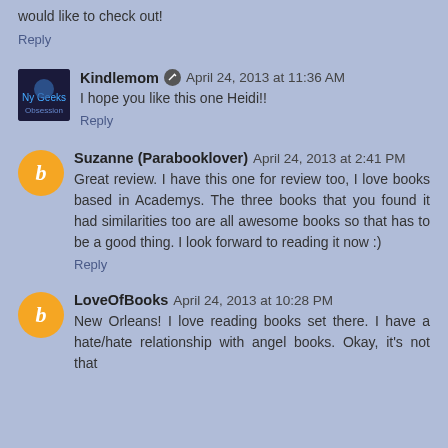would like to check out!
Reply
Kindlemom ✏ April 24, 2013 at 11:36 AM
I hope you like this one Heidi!!
Reply
Suzanne (Parabooklover) April 24, 2013 at 2:41 PM
Great review. I have this one for review too, I love books based in Academys. The three books that you found it had similarities too are all awesome books so that has to be a good thing. I look forward to reading it now :)
Reply
LoveOfBooks April 24, 2013 at 10:28 PM
New Orleans! I love reading books set there. I have a hate/hate relationship with angel books. Okay, it's not that